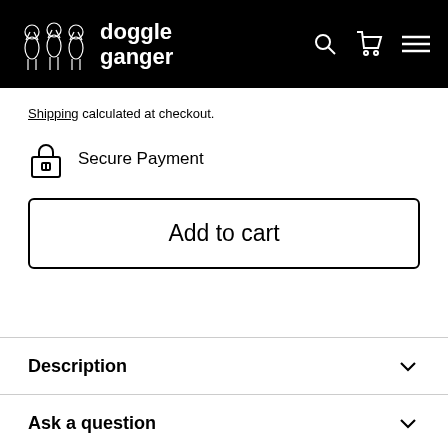doggle ganger
Shipping calculated at checkout.
Secure Payment
Add to cart
Description
Ask a question